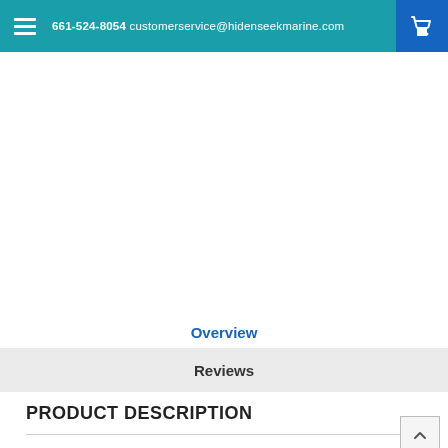661-524-8054 customerservice@hidenseekmarine.com
[Figure (photo): Product image area (blank/white placeholder)]
Overview
Reviews
PRODUCT DESCRIPTION
MCKGB450B.6 Marine Package - In-Dash Marine Gauge Digital Media AM/FM/BT Receiver with 6.5" Speakers - Black
Features: